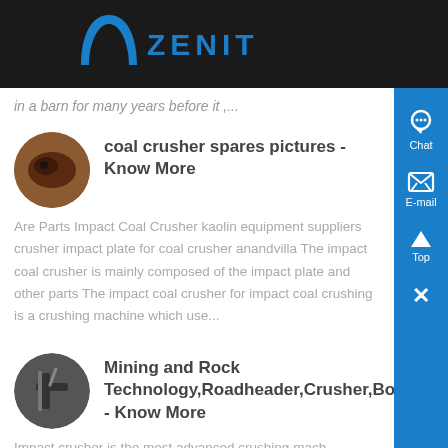ZENIT
in a barn for many years before it ,...
coal crusher spares pictures - Know More
Are Parts Impact Coal Crusher kaolin equipment suppliers crusher impact plate for coal crusher anandvilla The impact coal crusher is mainly composed of the impact plate and other parts The impact coal crusher for impact coal crushing is a crushing machine which use...
Mining and Rock Technology,Roadheader,Crusher,Bori, - Know More
Impact crusher is the most advanced crushing mach